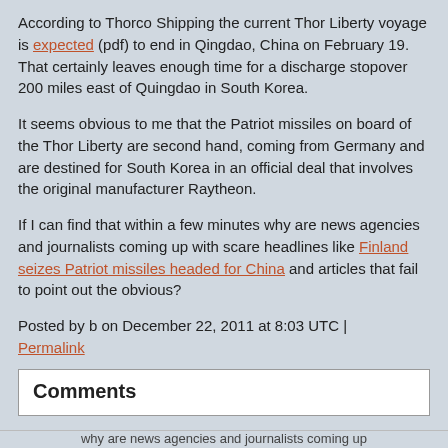According to Thorco Shipping the current Thor Liberty voyage is expected (pdf) to end in Qingdao, China on February 19. That certainly leaves enough time for a discharge stopover 200 miles east of Quingdao in South Korea.
It seems obvious to me that the Patriot missiles on board of the Thor Liberty are second hand, coming from Germany and are destined for South Korea in an official deal that involves the original manufacturer Raytheon.
If I can find that within a few minutes why are news agencies and journalists coming up with scare headlines like Finland seizes Patriot missiles headed for China and articles that fail to point out the obvious?
Posted by b on December 22, 2011 at 8:03 UTC | Permalink
Comments
why are news agencies and journalists coming up